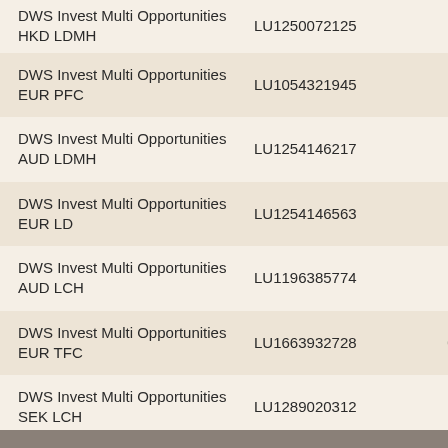| Fund Name | ISIN | Rate |
| --- | --- | --- |
| DWS Invest Multi Opportunities HKD LDMH | LU1250072125 | 1,30 % |
| DWS Invest Multi Opportunities EUR PFC | LU1054321945 | 1,20 % |
| DWS Invest Multi Opportunities AUD LDMH | LU1254146217 | 1,30 % |
| DWS Invest Multi Opportunities EUR LD | LU1254146563 | 1,30 % |
| DWS Invest Multi Opportunities AUD LCH | LU1196385774 | 1,30 % |
| DWS Invest Multi Opportunities EUR TFC | LU1663932728 | 0,75 % |
| DWS Invest Multi Opportunities SEK LCH | LU1289020312 | 1,30 % |
| DWS Invest Multi Opportunities USD FCH | LU1224427564 | 0,75 % |